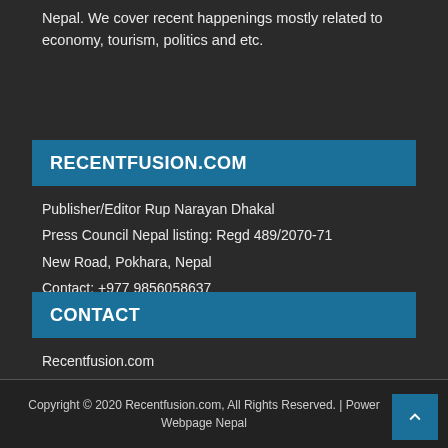Nepal. We cover recent happenings mostly related to economy, tourism, politics and etc.
RECENTFUSION.COM
Publisher/Editor Rup Narayan Dhakal
Press Council Nepal listing: Regd 489/2070-71
New Road, Pokhara, Nepal
Contact: +977 9856058637
CONTACT
Recentfusion.com
General Inquiry: info@recentfusion.com
For News: recentfusion@gmail.com
Contact: +977 9827140164
Copyright © 2020 Recentfusion.com, All Rights Reserved. | Power Webpage Nepal